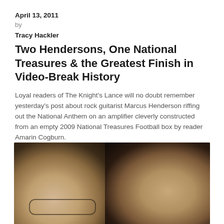April 13, 2011
by
Tracy Hackler
Two Hendersons, One National Treasures & the Greatest Finish in Video-Break History
Loyal readers of The Knight's Lance will no doubt remember yesterday's post about rock guitarist Marcus Henderson riffing out the National Anthem on an amplifier cleverly constructed from an empty 2009 National Treasures Football box by reader Amarin Cogburn.
[Figure (photo): Webcam-style photo of two people side by side. On the left is a man with glasses and light brown hair. On the right is a person with longer dark hair, mouth open in apparent surprise. The background is dark.]